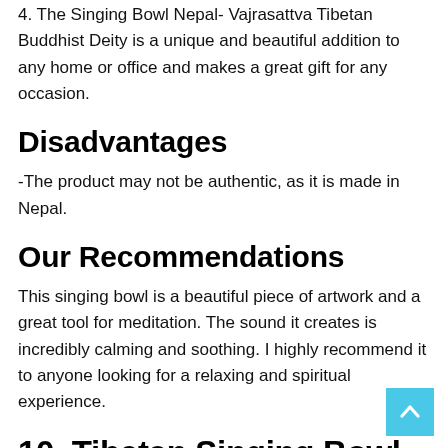4. The Singing Bowl Nepal- Vajrasattva Tibetan Buddhist Deity is a unique and beautiful addition to any home or office and makes a great gift for any occasion.
Disadvantages
-The product may not be authentic, as it is made in Nepal.
Our Recommendations
This singing bowl is a beautiful piece of artwork and a great tool for meditation. The sound it creates is incredibly calming and soothing. I highly recommend it to anyone looking for a relaxing and spiritual experience.
10. Tibetan Singing Bowl Set, Quartz Crystal, Healing